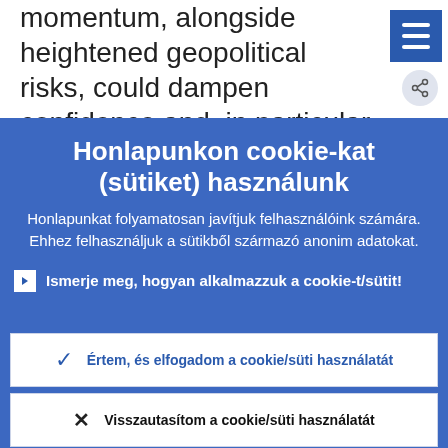momentum, alongside heightened geopolitical risks, could dampen confidence and, in particular, private investment. In addition, insufficient progress in structural
Honlapunkon cookie-kat (sütiket) használunk
Honlapunkat folyamatosan javítjuk felhasználóink számára. Ehhez felhasználjuk a sütikből származó anonim adatokat.
Ismerje meg, hogyan alkalmazzuk a cookie-t/sütit!
Értem, és elfogadom a cookie/süti használatát
Visszautasítom a cookie/süti használatát